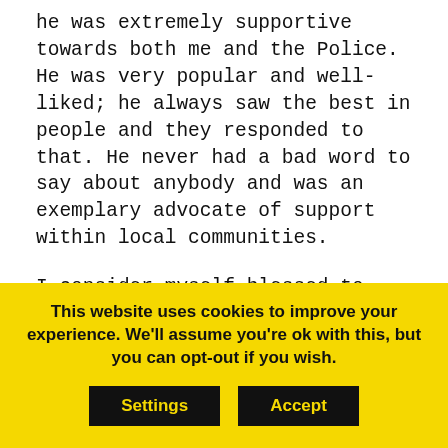he was extremely supportive towards both me and the Police. He was very popular and well-liked; he always saw the best in people and they responded to that. He never had a bad word to say about anybody and was an exemplary advocate of support within local communities.
I consider myself blessed to have known him.
Gill Riley, Chair Ilkeston Support Group, 10/07/2020
This website uses cookies to improve your experience. We'll assume you're ok with this, but you can opt-out if you wish. Settings Accept